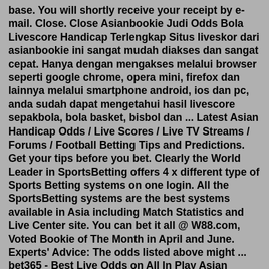base. You will shortly receive your receipt by e-mail. Close. Close Asianbookie Judi Odds Bola Livescore Handicap Terlengkap Situs liveskor dari asianbookie ini sangat mudah diakses dan sangat cepat. Hanya dengan mengakses melalui browser seperti google chrome, opera mini, firefox dan lainnya melalui smartphone android, ios dan pc, anda sudah dapat mengetahui hasil livescore sepakbola, bola basket, bisbol dan ... Latest Asian Handicap Odds / Live Scores / Live TV Streams / Forums / Football Betting Tips and Predictions. Get your tips before you bet. Clearly the World Leader in SportsBetting offers 4 x different type of Sports Betting systems on one login. All the SportsBetting systems are the best systems available in Asia including Match Statistics and Live Center site. You can bet it all @ W88.com, Voted Bookie of The Month in April and June. Experts' Advice: The odds listed above might ... bet365 - Best Live Odds on All In Play Asian Handicaps. - SIGN UP NOW! BK8 - Fast, trusted, 24/7 transactions. Best